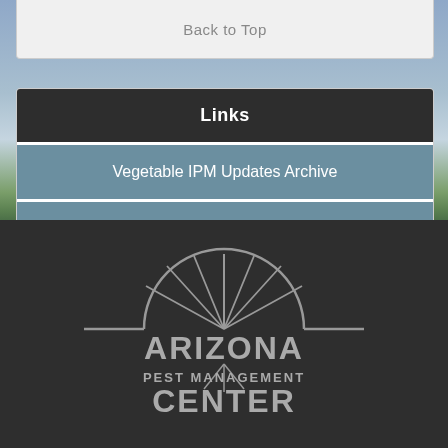Back to Top
Links
Vegetable IPM Updates Archive
Subscribe to the VIPM Update news letter
[Figure (logo): Arizona Pest Management Center logo - semicircle with radiating spokes above text 'ARIZONA PEST MANAGEMENT CENTER']